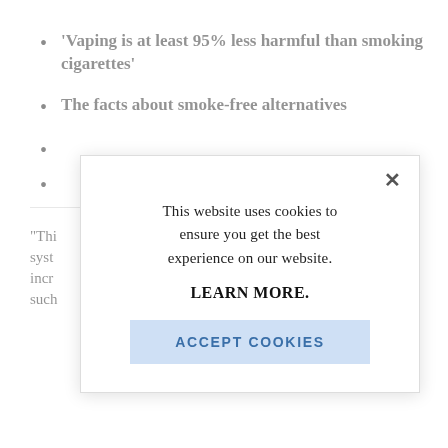'Vaping is at least 95% less harmful than smoking cigarettes'
The facts about smoke-free alternatives
“This syste incre such
[Figure (screenshot): Cookie consent modal dialog overlay. Contains text: 'This website uses cookies to ensure you get the best experience on our website.' with a 'LEARN MORE.' link and an 'ACCEPT COOKIES' button. A close (X) button is in the upper right.]